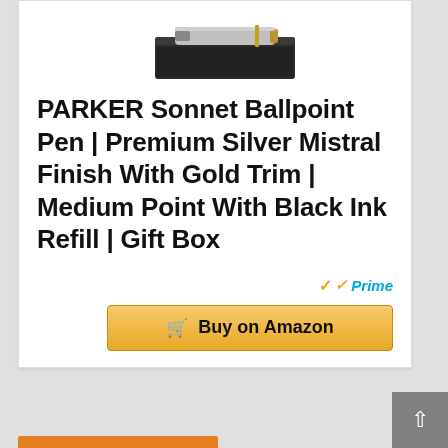[Figure (photo): Partial view of a Parker Sonnet pen in a dark gift box, showing the top portion of the product packaging]
PARKER Sonnet Ballpoint Pen | Premium Silver Mistral Finish With Gold Trim | Medium Point With Black Ink Refill | Gift Box
[Figure (logo): Amazon Prime checkmark logo with orange check and 'Prime' text in blue italic]
[Figure (other): Golden 'Buy on Amazon' button with shopping cart icon]
[Figure (other): Gray scroll-to-top button with upward arrow]
[Figure (other): Orange bar at bottom of page indicating next section]